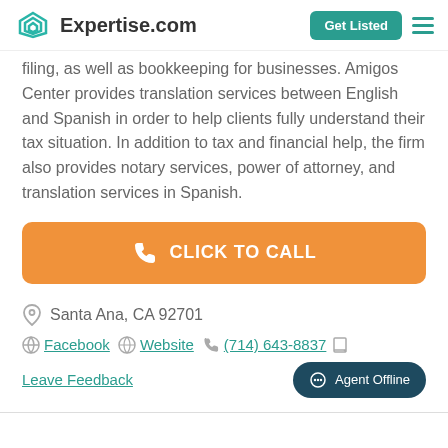Expertise.com | Get Listed
filing, as well as bookkeeping for businesses. Amigos Center provides translation services between English and Spanish in order to help clients fully understand their tax situation. In addition to tax and financial help, the firm also provides notary services, power of attorney, and translation services in Spanish.
[Figure (other): Orange 'CLICK TO CALL' button with phone icon]
Santa Ana, CA 92701
Facebook  Website  (714) 643-8837
Leave Feedback
[Figure (other): Agent Offline chat button]